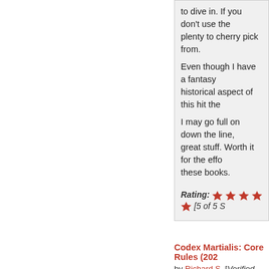to dive in. If you don't use the plenty to cherry pick from.
Even though I have a fantasy historical aspect of this hit the
I may go full on down the line, great stuff. Worth it for the effo these books.
Rating: [5 of 5 S
Codex Martialis: Core Rules (202
by Richard S. [Verified Purchaser]
I really enjoy what was done h battles with the new rules and tactical. Should I ditch the spe knife? Should I go all out or ho Should I try to punch through t spot? It adds a whole new dim looking for something like this always found something lackir hope to introduce this to a cou happens. This would work wel something like Conan. Somet but when you play they make